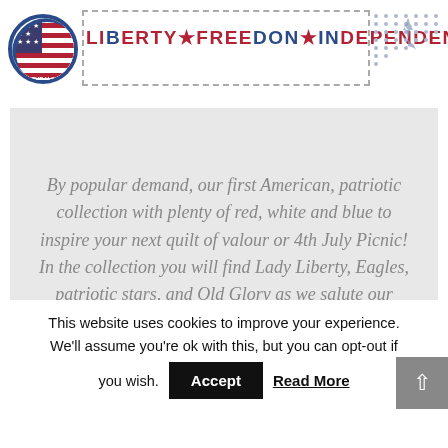[Figure (illustration): Header with US flag circle emblem on left, 'LIBERTY FREEDOM INDEPENDENCE' text in center in red/blue patriotic style, silhouette of Statue of Liberty on right with dot pattern background, dashed rectangle border decoration]
By popular demand, our first American, patriotic collection with plenty of red, white and blue to inspire your next quilt of valour or 4th July Picnic! In the collection you will find Lady Liberty, Eagles, patriotic stars, and Old Glory as we salute our American friends across the pond.
This website uses cookies to improve your experience. We'll assume you're ok with this, but you can opt-out if you wish.